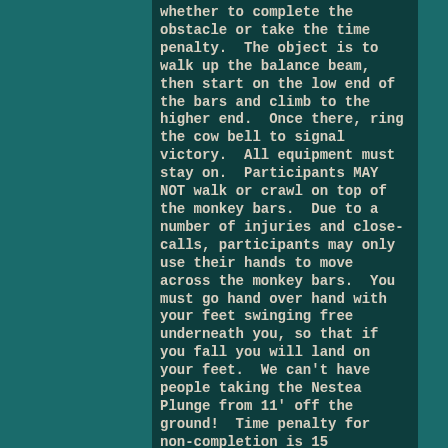whether to complete the obstacle or take the time penalty.  The object is to walk up the balance beam, then start on the low end of the bars and climb to the higher end.  Once there, ring the cow bell to signal victory.  All equipment must stay on.  Participants MAY NOT walk or crawl on top of the monkey bars.  Due to a number of injuries and close-calls, participants may only use their hands to move across the monkey bars.  You must go hand over hand with your feet swinging free underneath you, so that if you fall you will land on your feet.  We can't have people taking the Nestea Plunge from 11' off the ground!  Time penalty for non-completion is 15 minutes.  Sunday Sprint: 7 minutes.